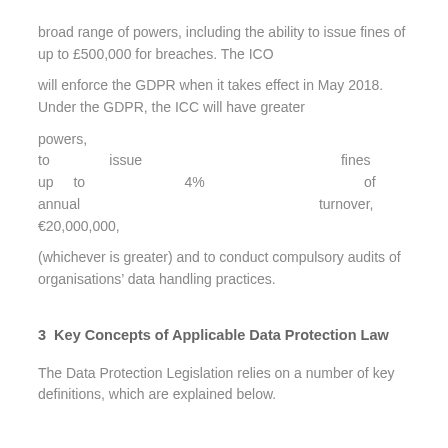broad range of powers, including the ability to issue fines of up to £500,000 for breaches. The ICO
will enforce the GDPR when it takes effect in May 2018. Under the GDPR, the ICC will have greater
powers, including the ability to issue fines of up to 4% of annual turnover, or €20,000,000,
(whichever is greater) and to conduct compulsory audits of organisations' data handling practices.
3  Key Concepts of Applicable Data Protection Law
The Data Protection Legislation relies on a number of key definitions, which are explained below.